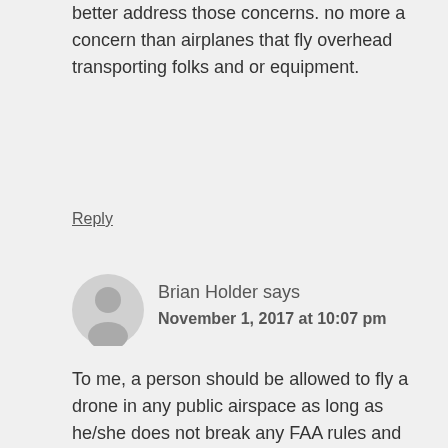better address those concerns. no more a concern than airplanes that fly overhead transporting folks and or equipment.
Reply
Brian Holder says
November 1, 2017 at 10:07 pm
To me, a person should be allowed to fly a drone in any public airspace as long as he/she does not break any FAA rules and does not bother anyone, or negatively impact the environment. Respecting the privacy and liberty of others is of vital.
A person smoking, walking their dog, camping, riding a